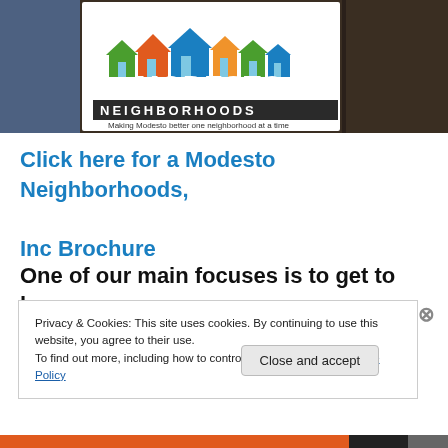[Figure (illustration): Modesto Neighborhoods logo with colorful cartoon houses and text 'Making Modesto better one neighborhood at a time', overlaid on a photograph of dark soil/earth]
Click here for a Modesto Neighborhoods, Inc Brochure
One of our main focuses is to get to know
Privacy & Cookies: This site uses cookies. By continuing to use this website, you agree to their use.
To find out more, including how to control cookies, see here: Cookie Policy
Close and accept